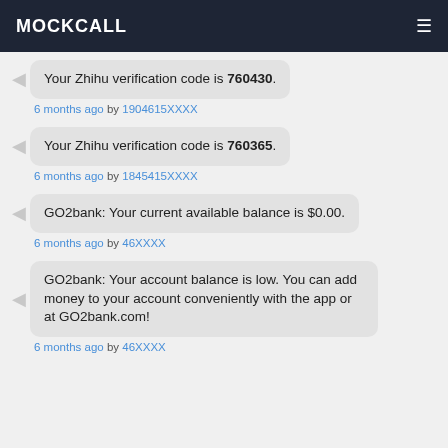MOCKCALL
Your Zhihu verification code is 760430.
6 months ago by 1904615XXXX
Your Zhihu verification code is 760365.
6 months ago by 1845415XXXX
GO2bank: Your current available balance is $0.00.
6 months ago by 46XXXX
GO2bank: Your account balance is low. You can add money to your account conveniently with the app or at GO2bank.com!
6 months ago by 46XXXX